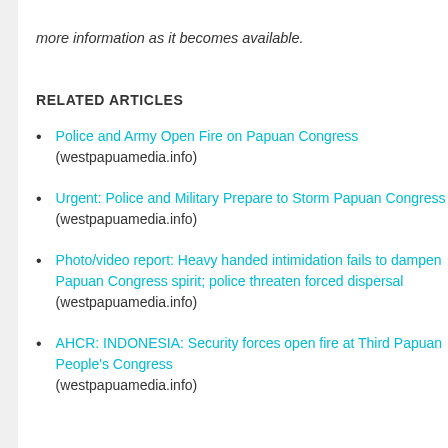more information as it becomes available.
RELATED ARTICLES
Police and Army Open Fire on Papuan Congress (westpapuamedia.info)
Urgent: Police and Military Prepare to Storm Papuan Congress (westpapuamedia.info)
Photo/video report: Heavy handed intimidation fails to dampen Papuan Congress spirit; police threaten forced dispersal (westpapuamedia.info)
AHCR: INDONESIA: Security forces open fire at Third Papuan People's Congress (westpapuamedia.info)